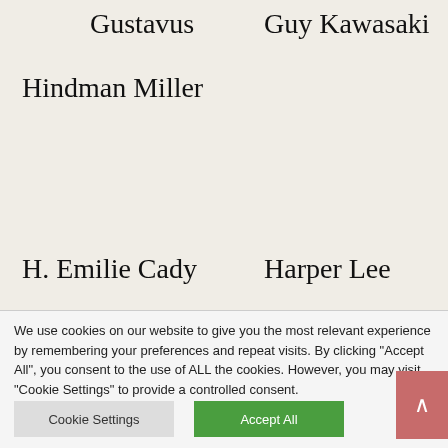Gustavus
Guy Kawasaki
Hindman Miller
H. Emilie Cady
Harper Lee
We use cookies on our website to give you the most relevant experience by remembering your preferences and repeat visits. By clicking "Accept All", you consent to the use of ALL the cookies. However, you may visit "Cookie Settings" to provide a controlled consent.
Cookie Settings
Accept All